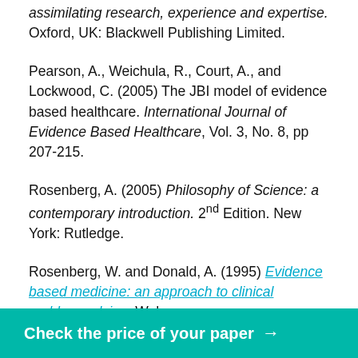assimilating research, experience and expertise. Oxford, UK: Blackwell Publishing Limited.
Pearson, A., Weichula, R., Court, A., and Lockwood, C. (2005) The JBI model of evidence based healthcare. International Journal of Evidence Based Healthcare, Vol. 3, No. 8, pp 207-215.
Rosenberg, A. (2005) Philosophy of Science: a contemporary introduction. 2nd Edition. New York: Rutledge.
Rosenberg, W. and Donald, A. (1995) Evidence based medicine: an approach to clinical problem-solving. Web.
Rubin, H.R., Pronovost, P., and Diette, G.B. (2001) The ... process-based ... International Journal
Check the price of your paper →